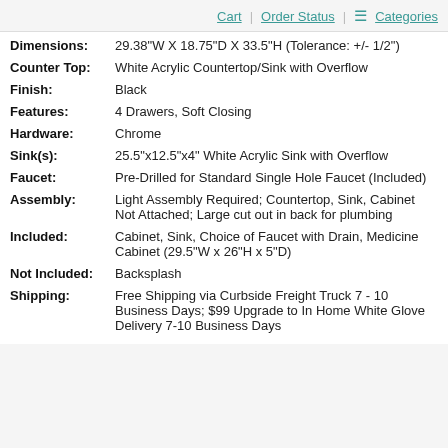Cart | Order Status | Categories
Dimensions: 29.38"W X 18.75"D X 33.5"H (Tolerance: +/- 1/2")
Counter Top: White Acrylic Countertop/Sink with Overflow
Finish: Black
Features: 4 Drawers, Soft Closing
Hardware: Chrome
Sink(s): 25.5"x12.5"x4" White Acrylic Sink with Overflow
Faucet: Pre-Drilled for Standard Single Hole Faucet (Included)
Assembly: Light Assembly Required; Countertop, Sink, Cabinet Not Attached; Large cut out in back for plumbing
Included: Cabinet, Sink, Choice of Faucet with Drain, Medicine Cabinet (29.5"W x 26"H x 5"D)
Not Included: Backsplash
Shipping: Free Shipping via Curbside Freight Truck 7 - 10 Business Days; $99 Upgrade to In Home White Glove Delivery 7-10 Business Days